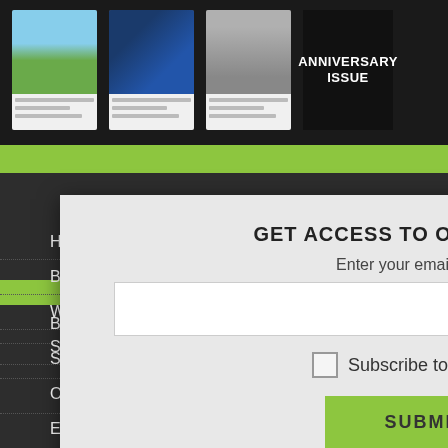[Figure (screenshot): Magazine cover thumbnails including solar canopy, solar panels, and electric car images, plus an Anniversary Issue black cover]
[Figure (screenshot): Modal popup dialog on dark website background with email subscription form]
GET ACCESS TO OUR ARTICLES
Enter your email address
Subscribe to Newsletter
SUBMIT
Bioenergy
Small Hydro
Off-Grid Power
Emerging Segments